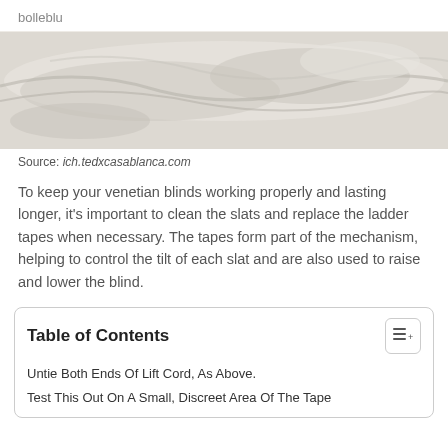bolleblu
[Figure (photo): Close-up photo of white/cream fabric or bedding material showing soft folds and texture]
Source: ich.tedxcasablanca.com
To keep your venetian blinds working properly and lasting longer, it's important to clean the slats and replace the ladder tapes when necessary. The tapes form part of the mechanism, helping to control the tilt of each slat and are also used to raise and lower the blind.
Table of Contents
Untie Both Ends Of Lift Cord, As Above.
Test This Out On A Small, Discreet Area Of The Tape